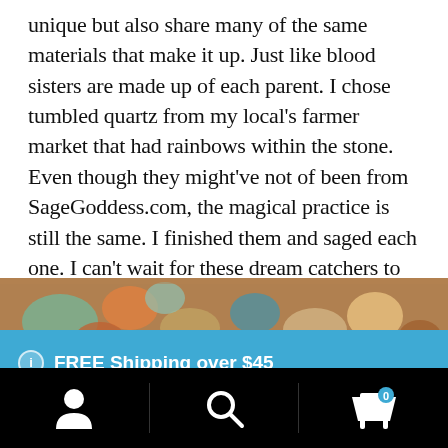unique but also share many of the same materials that make it up. Just like blood sisters are made up of each parent. I chose tumbled quartz from my local's farmer market that had rainbows within the stone. Even though they might've not of been from SageGoddess.com, the magical practice is still the same. I finished them and saged each one. I can't wait for these dream catchers to grow with the girls. I wish them inspiration and creativity with in their lives.
[Figure (photo): A photo strip showing colorful tumbled gemstones and crystals in various colors including teal, orange, brown, and cream tones]
FREE Shipping over $45
Dismiss